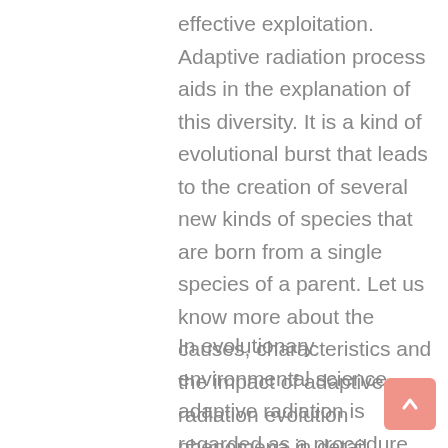effective exploitation. Adaptive radiation process aids in the explanation of this diversity. It is a kind of evolutional burst that leads to the creation of several new kinds of species that are born from a single species of a parent. Let us know more about the causes, characteristics and the impact of adaptive radiation evolution phenomena in detail.
In evolutionary environmental science, adaptive radiation is regarded as a procedure where living organisms diversify quickly from their ancestral species to take on several new forms. This happens specifically when environment changes are recorded. This, in turn, results in the